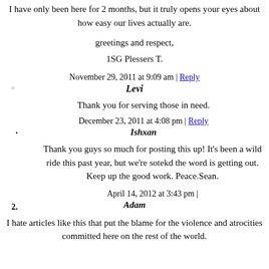I have only been here for 2 months, but it truly opens your eyes about how easy our lives actually are.
greetings and respect,
1SG Plessers T.
November 29, 2011 at 9:09 am | Reply
Levi
Thank you for serving those in need.
December 23, 2011 at 4:08 pm | Reply
Ishxan
Thank you guys so much for posting this up! It's been a wild ride this past year, but we're sotekd the word is getting out. Keep up the good work. Peace.Sean.
April 14, 2012 at 3:43 pm |
Adam
I hate articles like this that put the blame for the violence and atrocities committed here on the rest of the world.